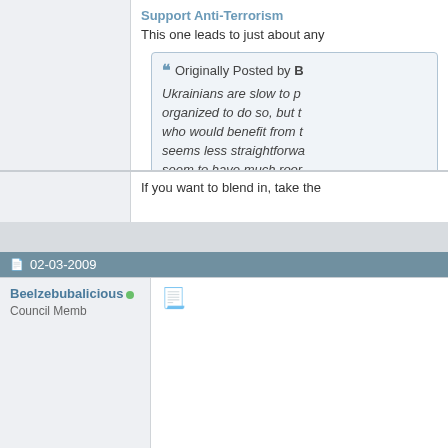Support Anti-Terrorism
This one leads to just about any
Originally Posted by B
Ukrainians are slow to p... organized to do so, but t... who would benefit from t... seems less straightforwa... seem to have much roor
It took place here, but not to the... that era for Estonia is dead and... ever make it to Parliamentary s
If you want to blend in, take the
02-03-2009
Beelzebubalicious
Council Member